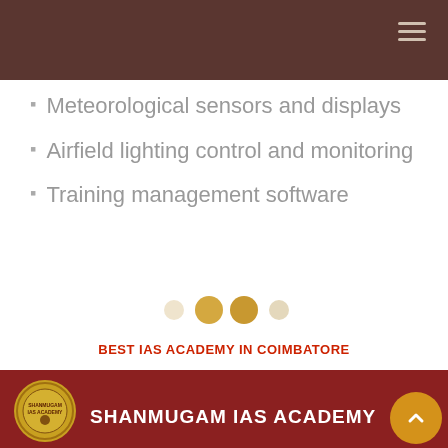Meteorological sensors and displays
Airfield lighting control and monitoring
Training management software
[Figure (other): Pagination dots: five circles, two are larger/filled in a tan/gold color]
BEST IAS ACADEMY IN COIMBATORE
SHANMUGAM IAS ACADEMY